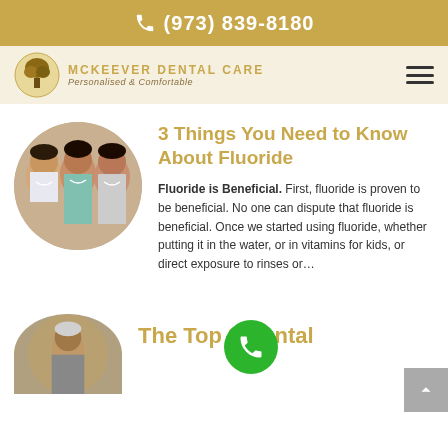(973) 839-8180
[Figure (logo): McKeever Dental Care logo with tree icon, text reads MCKEEVER DENTAL CARE Personalised & Comfortable]
3 Things You Need to Know About Fluoride
Fluoride is Beneficial. First, fluoride is proven to be beneficial. No one can dispute that fluoride is beneficial. Once we started using fluoride, whether putting it in the water, or in vitamins for kids, or direct exposure to rinses or...
The Top 3 Dental